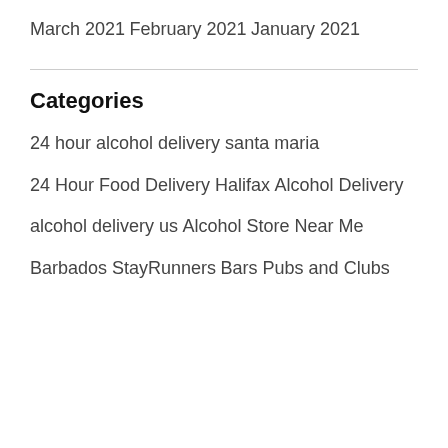March 2021
February 2021
January 2021
Categories
24 hour alcohol delivery santa maria
24 Hour Food Delivery Halifax
Alcohol Delivery
alcohol delivery us
Alcohol Store Near Me
Barbados StayRunners
Bars Pubs and Clubs